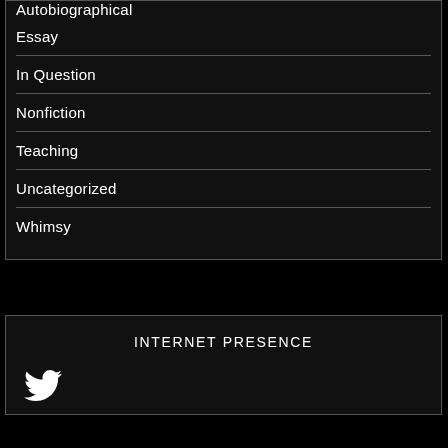Autobiographical
Essay
In Question
Nonfiction
Teaching
Uncategorized
Whimsy
INTERNET PRESENCE
[Figure (logo): Twitter bird icon in white]